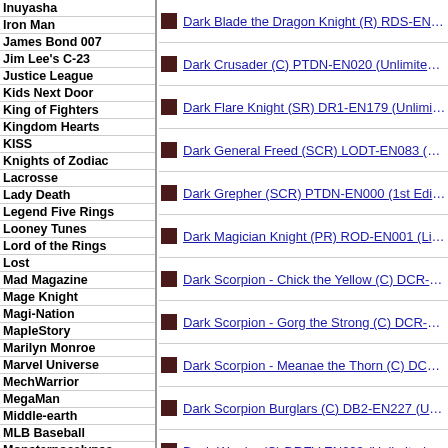Inuyasha
Iron Man
James Bond 007
Jim Lee's C-23
Justice League
Kids Next Door
King of Fighters
Kingdom Hearts
KISS
Knights of Zodiac
Lacrosse
Lady Death
Legend Five Rings
Looney Tunes
Lord of the Rings
Lost
Mad Magazine
Mage Knight
Magi-Nation
MapleStory
Marilyn Monroe
Marvel Universe
MechWarrior
MegaMan
Middle-earth
MLB Baseball
Monsterpocalypse
Mortal Kombat
Multi Sports
Music
Mystical Empire
Naruto
NBA Basketball
Neopets
NFL Football
NHL Hockey
Nintendo
Olympic Games
Dark Blade the Dragon Knight (R) RDS-EN03...
Dark Crusader (C) PTDN-EN020 (Unlimited E...
Dark Flare Knight (SR) DR1-EN179 (Unlimited...
Dark General Freed (SCR) LODT-EN083 (1st...
Dark Grepher (SCR) PTDN-EN000 (1st Editio...
Dark Magician Knight (PR) ROD-EN001 (Limi...
Dark Scorpion - Chick the Yellow (C) DCR-026...
Dark Scorpion - Gorg the Strong (C) DCR-060...
Dark Scorpion - Meanae the Thorn (C) DCR-0...
Dark Scorpion Burglars (C) DB2-EN227 (Unli...
Dash Warrior (C) DREV-EN003 (Unlimited Editi...
Dawnbreak Gardna (C) TAEV-EN024 (1st Edit...